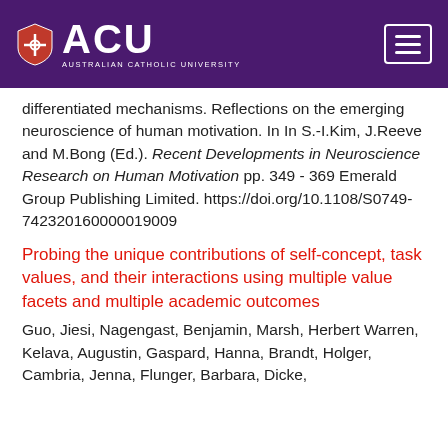ACU — Australian Catholic University
differentiated mechanisms. Reflections on the emerging neuroscience of human motivation. In In S.-I.Kim, J.Reeve and M.Bong (Ed.). Recent Developments in Neuroscience Research on Human Motivation pp. 349 - 369 Emerald Group Publishing Limited. https://doi.org/10.1108/S0749-742320160000019009
Probing the unique contributions of self-concept, task values, and their interactions using multiple value facets and multiple academic outcomes
Guo, Jiesi, Nagengast, Benjamin, Marsh, Herbert Warren, Kelava, Augustin, Gaspard, Hanna, Brandt, Holger, Cambria, Jenna, Flunger, Barbara, Dicke,